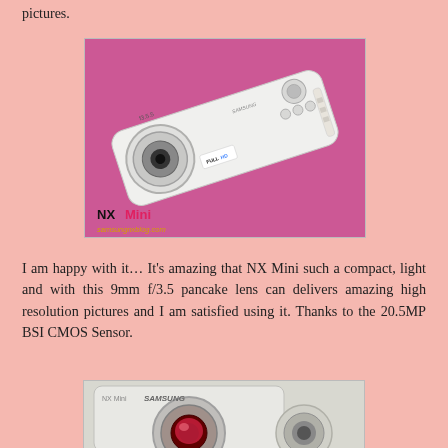pictures.
[Figure (photo): Top-down view of a white Samsung NX Mini camera with 9mm pancake lens on a pink/magenta background, with wrist strap visible. Watermark shows 'NX Mini' and website URL.]
I am happy with it… It's amazing that NX Mini such a compact, light and with this 9mm f/3.5 pancake lens can delivers amazing high resolution pictures and I am satisfied using it. Thanks to the 20.5MP BSI CMOS Sensor.
[Figure (photo): Front view of a white Samsung NX Mini camera body with lens removed, showing the camera sensor, partially cropped at the bottom of the page.]